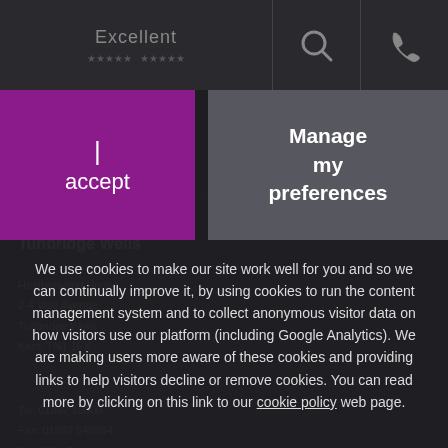Excellent
[Figure (screenshot): Website screenshot with cookie consent overlay showing 'I accept' and 'Manage my preferences' buttons and cookie policy text]
We use cookies to make our site work well for you and so we can continually improve it, by using cookies to run the content management system and to collect anonymous visitor data on how visitors use our platform (including Google Analytics). We are making users more aware of these cookies and providing links to help visitors decline or remove cookies. You can read more by clicking on this link to our cookie policy web page.
Tunbridge Wells
Heatherwood House
2-4 Vale Avenue
Tunbridge Wells
Kent, TN1 1EX
Tel: 01892 10000
Fax: 01892 548884
DX: 3914 Tunbridge Wells 1